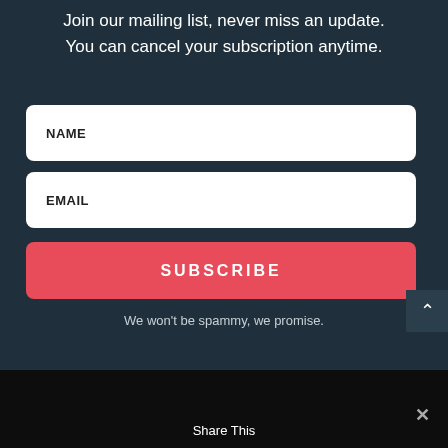Join our mailing list, never miss an update.
You can cancel your subscription anytime.
[Figure (infographic): Email subscription form with NAME field, EMAIL field, and a red SUBSCRIBE button]
We won't be spammy, we promise.
[Figure (infographic): Social sharing bar with Facebook, Twitter, and Instagram icons and Share This label, with X close button]